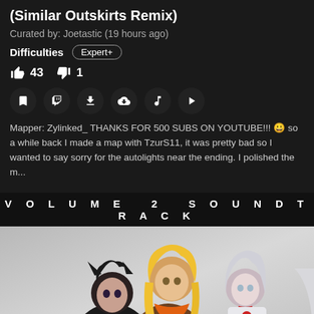(Similar Outskirts Remix)
Curated by: Joetastic (19 hours ago)
Difficulties   Expert+
👍43  👎1
Mapper: Zylinked_ THANKS FOR 500 SUBS ON YOUTUBE!!! 😀 so a while back I made a map with TzurS11, it was pretty bad so I wanted to say sorry for the autolights near the ending. I polished the m...
[Figure (illustration): Anime-style illustration showing multiple characters with 'VOLUME 2 SOUNDTRACK' text banner at top. Characters appear to be from RWBY (animated series).]
VOLUME 2 SOUNDTRACK